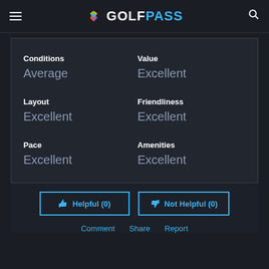GOLFPASS
| Category | Rating | Category2 | Rating2 |
| --- | --- | --- | --- |
| Conditions | Average | Value | Excellent |
| Layout | Excellent | Friendliness | Excellent |
| Pace | Excellent | Amenities | Excellent |
Helpful (0)
Not Helpful (0)
Comment  Share  Report